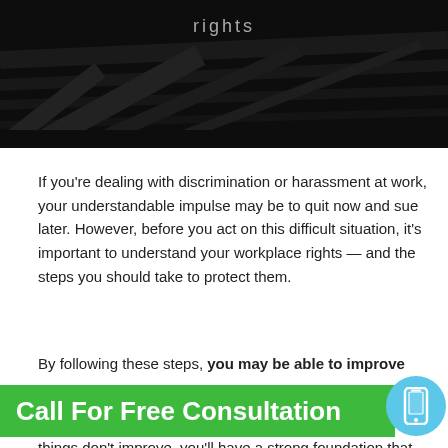[Figure (photo): Dark hero image of car interior or machinery, nearly black, with the word 'rights' in light gray text at the top center]
If you’re dealing with discrimination or harassment at work, your understandable impulse may be to quit now and sue later. However, before you act on this difficult situation, it’s important to understand your workplace rights — and the steps you should take to protect them.
By following these steps, you may be able to improve
Call For Free Consultation
things don’t improve, you’ll have a strong foundation that will help you prove your case and exercise your